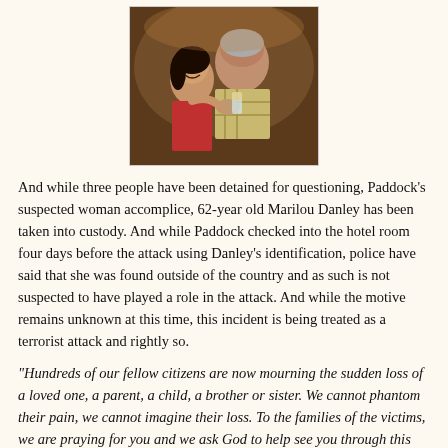[Figure (photo): Photo of a man and woman together, smiling, man holding up a glass]
And while three people have been detained for questioning, Paddock's suspected woman accomplice, 62-year old Marilou Danley has been taken into custody. And while Paddock checked into the hotel room four days before the attack using Danley's identification, police have said that she was found outside of the country and as such is not suspected to have played a role in the attack. And while the motive remains unknown at this time, this incident is being treated as a terrorist attack and rightly so.
“Hundreds of our fellow citizens are now mourning the sudden loss of a loved one, a parent, a child, a brother or sister. We cannot phantom their pain, we cannot imagine their loss. To the families of the victims, we are praying for you and we ask God to help see you through this very dark period,” President Trump said from the White House, adding praise for law enforcement and first